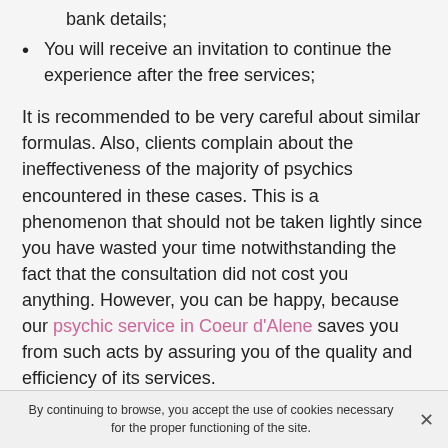bank details;
You will receive an invitation to continue the experience after the free services;
It is recommended to be very careful about similar formulas. Also, clients complain about the ineffectiveness of the majority of psychics encountered in these cases. This is a phenomenon that should not be taken lightly since you have wasted your time notwithstanding the fact that the consultation did not cost you anything. However, you can be happy, because our psychic service in Coeur d'Alene saves you from such acts by assuring you of the quality and efficiency of its services.
If you are a bit of an airhead and are quickly fooled, you will be a perfect target for dreamy psychics or charlatans. So, even with a free consultation, it won't do you any good
By continuing to browse, you accept the use of cookies necessary for the proper functioning of the site.